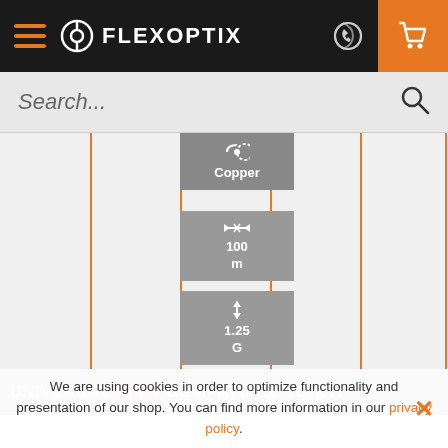FLEXOPTIX navigation bar with hamburger menu, logo, phone icon, and cart icon
Search...
[Figure (infographic): Filter grid with vertical orange lines and three gray filter badges: Copper (media type), 100 m (distance), 1.25 G (speed)]
UNIVERSAL SFP+ COMPATIBLE TO KTI
We are using cookies in order to optimize functionality and presentation of our shop. You can find more information in our privacy policy.